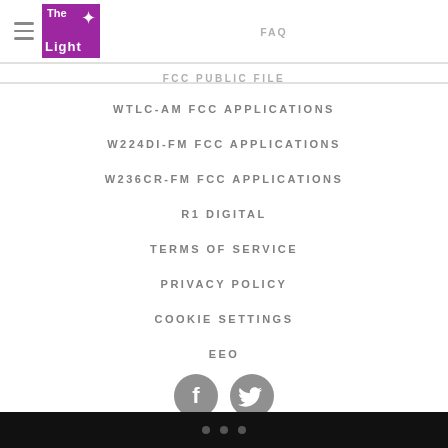The Light — FAQ | FCC PUBLIC FILE
WTLC-AM FCC APPLICATIONS
W224DI-FM FCC APPLICATIONS
W236CR-FM FCC APPLICATIONS
R1 DIGITAL
TERMS OF SERVICE
PRIVACY POLICY
COOKIE SETTINGS
EEO
[Figure (illustration): Social media icons: Facebook and Twitter circles in gray]
• • •